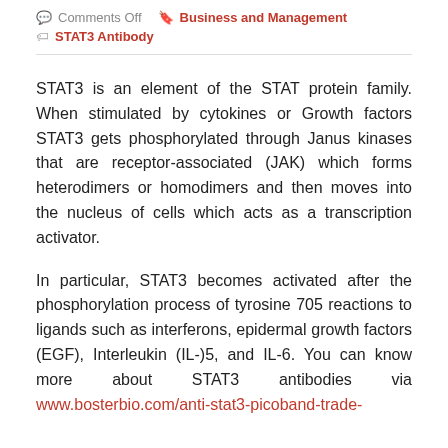Comments Off  Business and Management  STAT3 Antibody
STAT3 is an element of the STAT protein family. When stimulated by cytokines or Growth factors STAT3 gets phosphorylated through Janus kinases that are receptor-associated (JAK) which forms heterodimers or homodimers and then moves into the nucleus of cells which acts as a transcription activator.
In particular, STAT3 becomes activated after the phosphorylation process of tyrosine 705 reactions to ligands such as interferons, epidermal growth factors (EGF), Interleukin (IL-)5, and IL-6. You can know more about STAT3 antibodies via www.bosterbio.com/anti-stat3-picoband-trade-